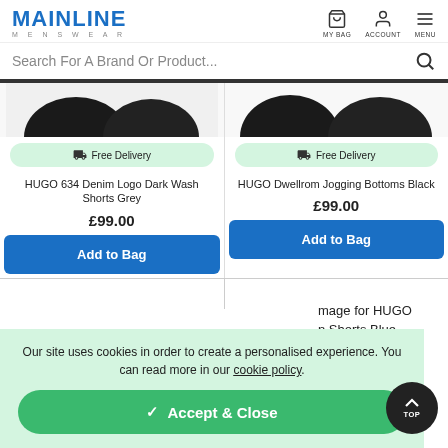MAINLINE MENSWEAR — MY BAG, ACCOUNT, MENU
Search For A Brand Or Product...
[Figure (screenshot): Product image partial — dark circular shapes (shorts) on white background]
🚚 Free Delivery
HUGO 634 Denim Logo Dark Wash Shorts Grey
£99.00
Add to Bag
[Figure (screenshot): Product image partial — dark circular shapes (jogging bottoms) on white background]
🚚 Free Delivery
HUGO Dwellrom Jogging Bottoms Black
£99.00
Add to Bag
mage for HUGO
n Shorts Blue
Our site uses cookies in order to create a personalised experience. You can read more in our cookie policy.
✓ Accept & Close